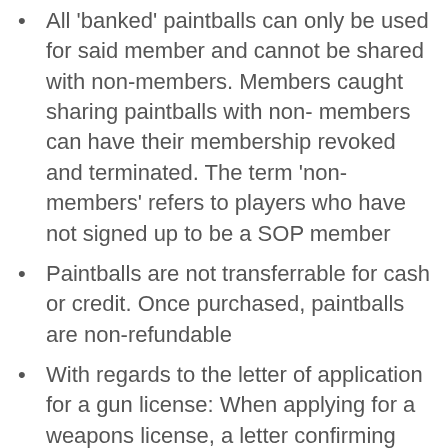All ‘banked’ paintballs can only be used for said member and cannot be shared with non-members. Members caught sharing paintballs with non- members can have their membership revoked and terminated. The term ‘non-members’ refers to players who have not signed up to be a SOP member
Paintballs are not transferrable for cash or credit. Once purchased, paintballs are non-refundable
With regards to the letter of application for a gun license: When applying for a weapons license, a letter confirming your membership at a paintball facility can be submitted as a supporting document to your application. This does not guarantee that your application will be accepted, and SOP takes no responsibility for the outcome